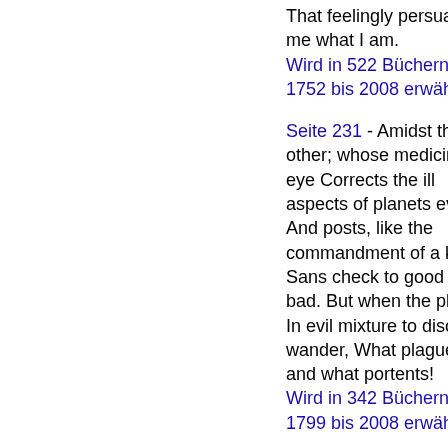That feelingly persuade me what I am.
Wird in 522 Büchern von 1752 bis 2008 erwähnt
Seite 231 - Amidst the other; whose medicinable eye Corrects the ill aspects of planets evil, And posts, like the commandment of a king, Sans check to good and bad. But when the planets In evil mixture to disorder wander, What plagues and what portents!
Wird in 342 Büchern von 1799 bis 2008 erwähnt
Seite 29 - When service should in my old limbs lie lame, And unregarded